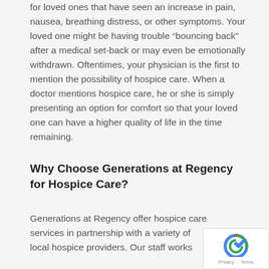for loved ones that have seen an increase in pain, nausea, breathing distress, or other symptoms. Your loved one might be having trouble “bouncing back” after a medical set-back or may even be emotionally withdrawn. Oftentimes, your physician is the first to mention the possibility of hospice care. When a doctor mentions hospice care, he or she is simply presenting an option for comfort so that your loved one can have a higher quality of life in the time remaining.
Why Choose Generations at Regency for Hospice Care?
Generations at Regency offer hospice care services in partnership with a variety of local hospice providers. Our staff works